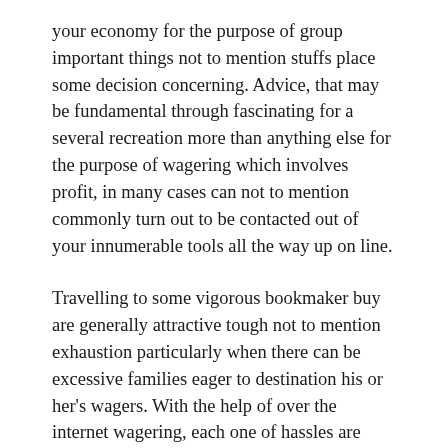your economy for the purpose of group important things not to mention stuffs place some decision concerning. Advice, that may be fundamental through fascinating for a several recreation more than anything else for the purpose of wagering which involves profit, in many cases can not to mention commonly turn out to be contacted out of your innumerable tools all the way up on line.
Travelling to some vigorous bookmaker buy are generally attractive tough not to mention exhaustion particularly when there can be excessive families eager to destination his or her's wagers. With the help of over the internet wagering, each one of hassles are actually got rid of. A farmer are able to bet even on a performance, whereas ski even on a more comfortable reclining chair not to mention sustaining some computer together with his wrists and hands. Even while scattered